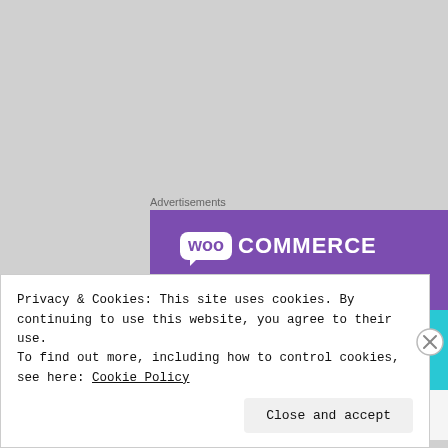Advertisements
[Figure (illustration): WooCommerce advertisement banner with purple background at top, teal triangle bottom-left, cyan arc bottom-right, WooCommerce logo in white bubble with 'COMMERCE' text, and headline 'How to start selling subscriptions online']
Privacy & Cookies: This site uses cookies. By continuing to use this website, you agree to their use.
To find out more, including how to control cookies, see here: Cookie Policy
Close and accept